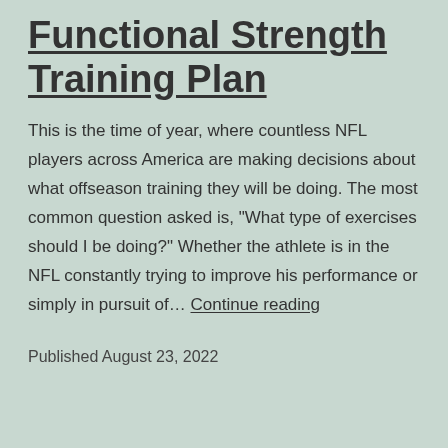Functional Strength Training Plan
This is the time of year, where countless NFL players across America are making decisions about what offseason training they will be doing. The most common question asked is, “What type of exercises should I be doing?” Whether the athlete is in the NFL constantly trying to improve his performance or simply in pursuit of… Continue reading
Published August 23, 2022